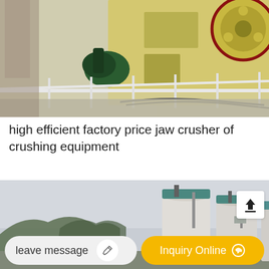[Figure (photo): Industrial jaw crusher machine with yellow painted body, large flywheel with red trim, green motor, metal railings and cables visible]
high efficient factory price jaw crusher of crushing equipment
[Figure (photo): Industrial facility with large cylindrical silos/tanks in teal and white colors, mountains in background, overcast sky]
leave message
Inquiry Online